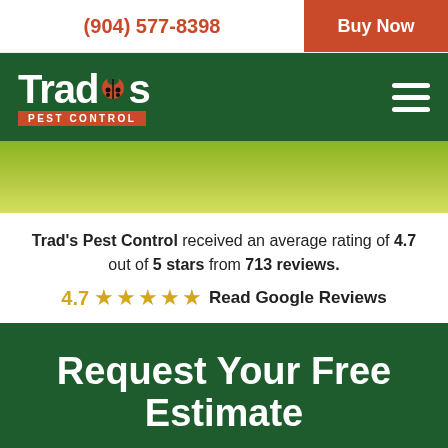(904) 577-8398  Buy Now
[Figure (logo): Trad's Pest Control logo with ladybug, white text on dark green background with red 'PEST CONTROL' banner]
[Figure (illustration): Olive/yellow-green gradient banner strip]
Trad's Pest Control received an average rating of 4.7 out of 5 stars from 713 reviews. 4.7 ★★★★★ Read Google Reviews
Request Your Free Estimate